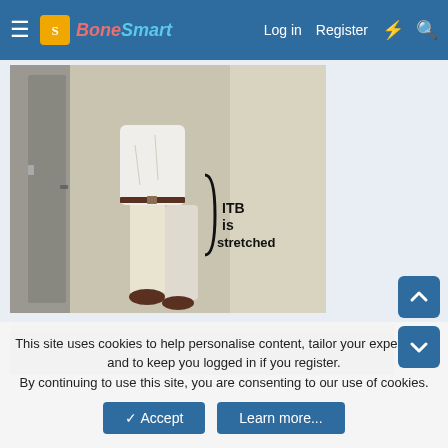BoneSmart — Log in | Register
[Figure (photo): Person standing sideways in a hallway corridor demonstrating ITB (iliotibial band) stretch exercise. Text annotation on image reads 'ITB is stretched' with a bracket indicating the area.]
[Figure (photo): Partial view of a second instructional photo, tan/beige background visible at top.]
This site uses cookies to help personalise content, tailor your experience and to keep you logged in if you register. By continuing to use this site, you are consenting to our use of cookies.
✓ Accept   Learn more...